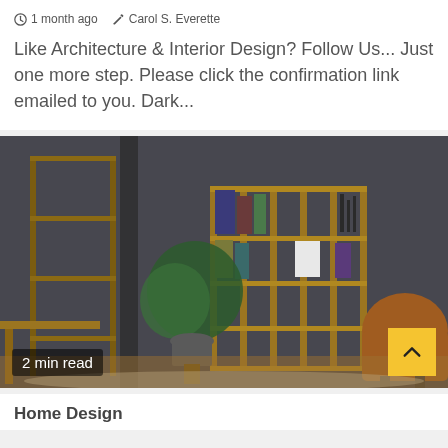1 month ago   Carol S. Everette
Like Architecture & Interior Design? Follow Us... Just one more step. Please click the confirmation link emailed to you. Dark...
[Figure (photo): Interior design photo of a modern dark-walled room with wooden bookshelves, a potted plant, a wooden desk, and a brown leather lounge chair on a light rug. A '2 min read' badge is overlaid at the bottom left and a yellow scroll-up button at the bottom right.]
Home Design